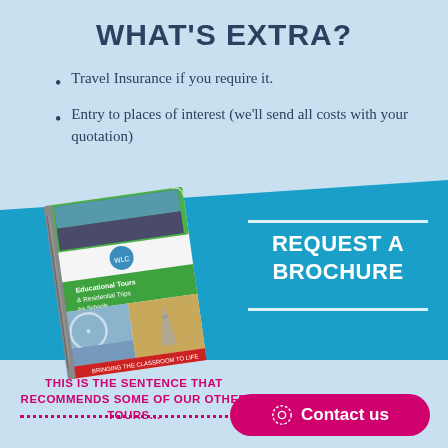WHAT'S EXTRA?
Travel Insurance if you require it.
Entry to places of interest (we'll send all costs with your quotation)
[Figure (photo): Photo of an educational tour brochure showing group photos, the London Eye, and the Eiffel Tower, with text 'Educational Tours & Residential Trips for Schools' and 'Bringing the Classroom to Life']
REQUEST A BROCHURE
THIS IS THE SENTENCE THAT RECOMMENDS SOME OF OUR OTHER TOURS...
Contact us